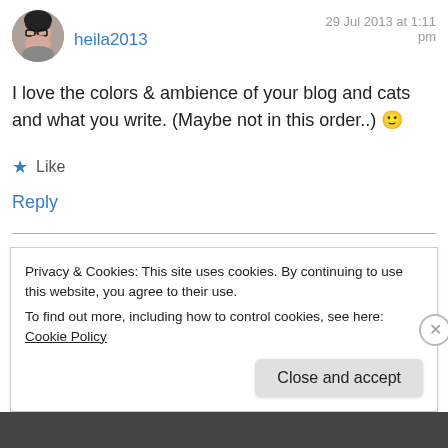[Figure (photo): Circular avatar photo of user heila2013, showing a woman with dark hair and glasses]
heila2013
29 Jul 2013 at 1:11 pm
I love the colors & ambience of your blog and cats and what you write. (Maybe not in this order..) 🙂
★ Like
Reply
Privacy & Cookies: This site uses cookies. By continuing to use this website, you agree to their use.
To find out more, including how to control cookies, see here: Cookie Policy
Close and accept